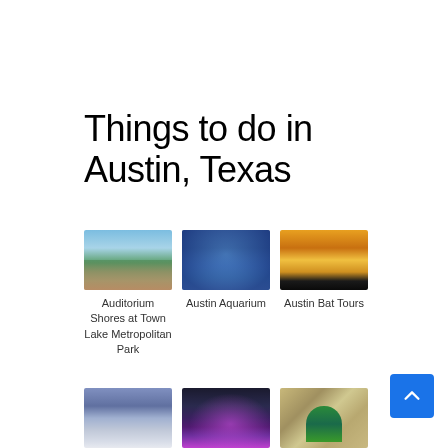Things to do in Austin, Texas
[Figure (photo): Auditorium Shores at Town Lake park with people on grass and city skyline]
Auditorium Shores at Town Lake Metropolitan Park
[Figure (photo): Austin Aquarium with blue-lit underwater scene]
Austin Aquarium
[Figure (photo): Austin Bat Tours – bats flying over city at sunset with orange sky]
Austin Bat Tours
[Figure (photo): Austin city feature – mirrored sculpture]
Austin
[Figure (photo): Austin nightlife with neon pink sign]
Austin
[Figure (photo): Austin Zoo – peacock in sandy enclosure]
Austin Zoo